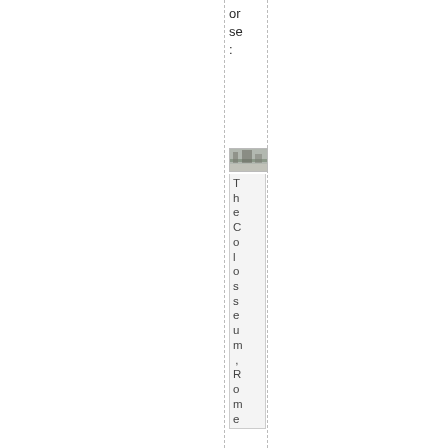or se:
[Figure (photo): Small thumbnail photo of The Colosseum, Rome]
The Colosseum, Rome
At least they've d